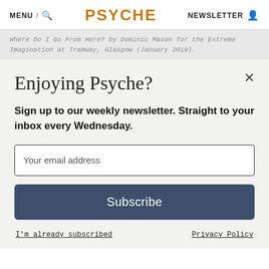MENU / 🔍   PSYCHE   NEWSLETTER 👤
Where Do I Go From Here? by Dominic Mason for the Extreme Imagination at Tramway, Glasgow (January 2019).
Enjoying Psyche?
Sign up to our weekly newsletter. Straight to your inbox every Wednesday.
Your email address
Subscribe
I'm already subscribed
Privacy Policy